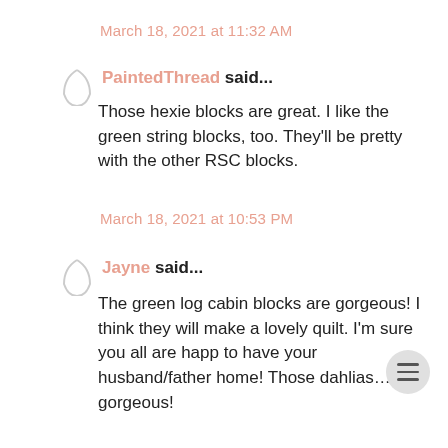March 18, 2021 at 11:32 AM
PaintedThread said...
Those hexie blocks are great. I like the green string blocks, too. They'll be pretty with the other RSC blocks.
March 18, 2021 at 10:53 PM
Jayne said...
The green log cabin blocks are gorgeous! I think they will make a lovely quilt. I'm sure you all are happy to have your husband/father home! Those dahlias…gorgeous!